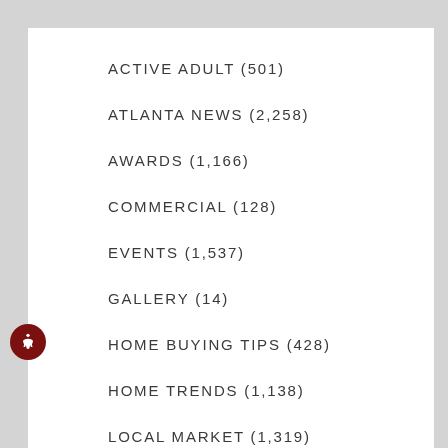ACTIVE ADULT (501)
ATLANTA NEWS (2,258)
AWARDS (1,166)
COMMERCIAL (128)
EVENTS (1,537)
GALLERY (14)
HOME BUYING TIPS (428)
HOME TRENDS (1,138)
LOCAL MARKET (1,319)
PROMOTIONS (407)